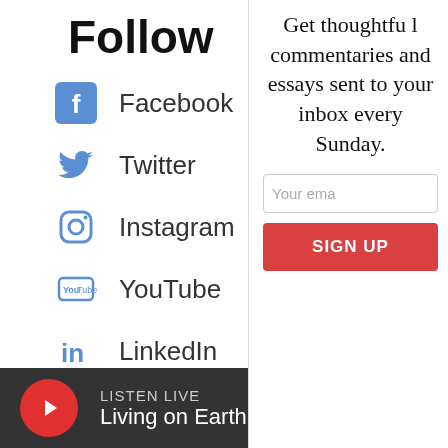Follow
Facebook
Twitter
Instagram
YouTube
LinkedIn
Subscribe to our weekday newsletter
Add WBUR to your morning rou
Get thoughtful commentaries and essays sent to your inbox every Sunday.
Your ema
SIGN UP
LISTEN LIVE Living on Earth